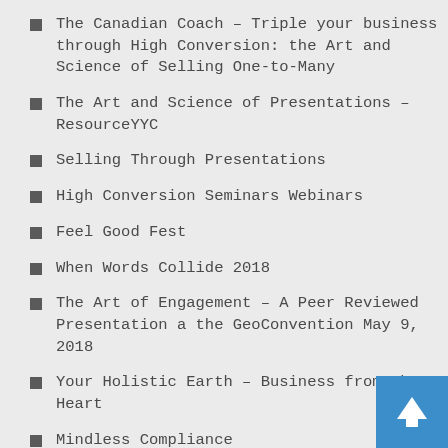The Canadian Coach – Triple your business through High Conversion: the Art and Science of Selling One-to-Many
The Art and Science of Presentations – ResourceYYC
Selling Through Presentations
High Conversion Seminars Webinars
Feel Good Fest
When Words Collide 2018
The Art of Engagement – A Peer Reviewed Presentation a the GeoConvention May 9, 2018
Your Holistic Earth – Business from the Heart
Mindless Compliance
A short discussion on 20 minutes